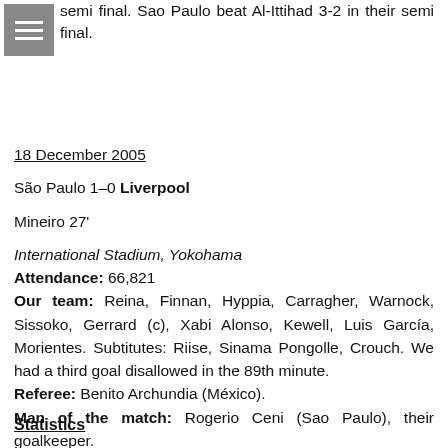semi final. Sao Paulo beat Al-Ittihad 3-2 in their semi final.
18 December 2005
São Paulo 1–0 Liverpool
Mineiro 27'
International Stadium, Yokohama
Attendance: 66,821
Our team: Reina, Finnan, Hyppia, Carragher, Warnock, Sissoko, Gerrard (c), Xabi Alonso, Kewell, Luis García, Morientes. Subtitutes: Riise, Sinama Pongolle, Crouch. We had a third goal disallowed in the 89th minute.
Referee: Benito Archundia (México).
Man of the match: Rogerio Ceni (Sao Paulo), their goalkeeper.
Statistics